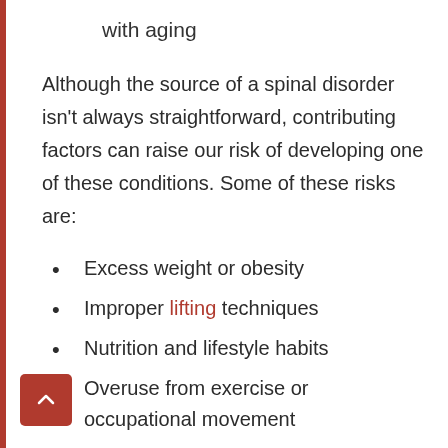with aging
Although the source of a spinal disorder isn't always straightforward, contributing factors can raise our risk of developing one of these conditions. Some of these risks are:
Excess weight or obesity
Improper lifting techniques
Nutrition and lifestyle habits
Overuse from exercise or occupational movement
Poor posture
Repetitive strenuous activity